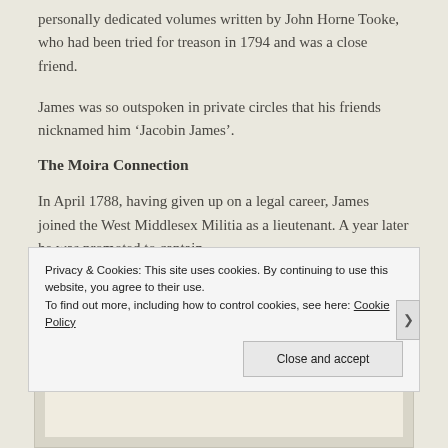personally dedicated volumes written by John Horne Tooke, who had been tried for treason in 1794 and was a close friend.
James was so outspoken in private circles that his friends nicknamed him ‘Jacobin James’.
The Moira Connection
In April 1788, having given up on a legal career, James joined the West Middlesex Militia as a lieutenant. A year later he was promoted to captain.
[Figure (photo): Partial view of a historical document or image inside a grey-bordered box, mostly obscured by cookie banner overlay.]
Privacy & Cookies: This site uses cookies. By continuing to use this website, you agree to their use.
To find out more, including how to control cookies, see here: Cookie Policy